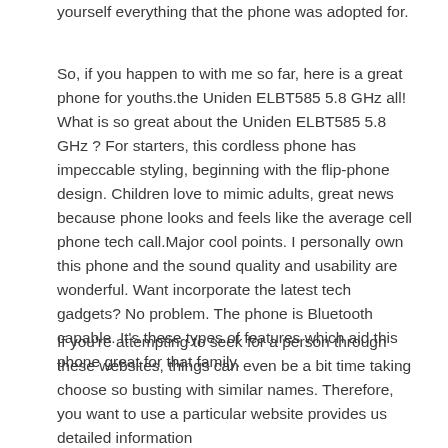yourself everything that the phone was adopted for.
So, if you happen to with me so far, here is a great phone for youths.the Uniden ELBT585 5.8 GHz all! What is so great about the Uniden ELBT585 5.8 GHz ? For starters, this cordless phone has impeccable styling, beginning with the flip-phone design. Children love to mimic adults, great news because phone looks and feels like the average cell phone tech call.Major cool points. I personally own this phone and the sound quality and usability are wonderful. Want incorporate the latest tech gadgets? No problem. The phone is Bluetooth capable. It’s these types of features which aid this phone great for that family.
If you’re attempting to seek for a person through these websites, things can even be a bit time taking choose so busting with similar names. Therefore, you want to use a particular website provides us detailed information